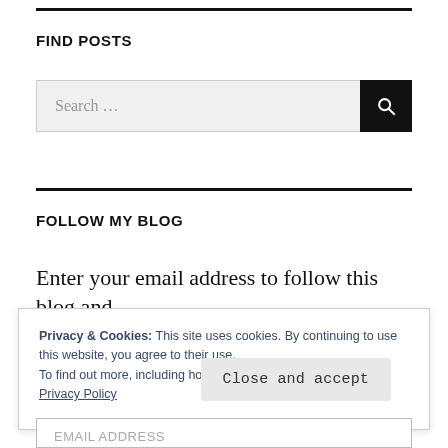FIND POSTS
[Figure (screenshot): Search bar with text input area showing 'Search ...' placeholder and a black search button with magnifying glass icon]
FOLLOW MY BLOG
Enter your email address to follow this blog and
Privacy & Cookies: This site uses cookies. By continuing to use this website, you agree to their use.
To find out more, including how to control cookies, see here: Privacy Policy
Close and accept
Email Address